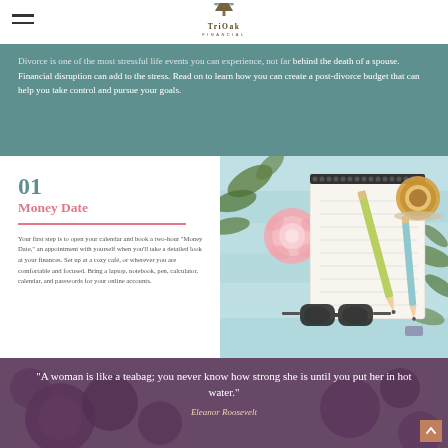TriOak Financial
Divorce is one of the most stressful life events you can experience, not far behind the death of a spouse. Financial disruption can add to the stress. Read on to learn how you can create a post-divorce budget that can help you take control and pursue your goals.
01 Money Date
Your first step is to open your calendar and book a two-hour "Money Date," an appointment with yourself when you'll take a detailed look at your finances. Set up at a cozy café, or wherever you are comfortable and focused. Bring a laptop, notebook, pen, calculator, calendar, and passwords for your online accounts.
[Figure (photo): Overhead flat lay photo of a notebook, pencils, a cup of coffee, sunglasses, a peony flower, and green leaves on a light blue wooden table.]
“A woman is like a teabag; you never know how strong she is until you put her in hot water.” Eleanor Roosevelt